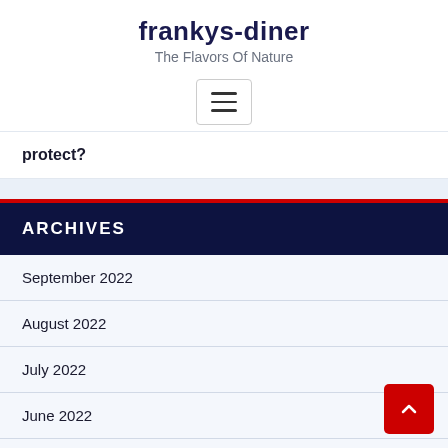frankys-diner
The Flavors Of Nature
[Figure (other): Hamburger menu button icon with three horizontal lines inside a rounded rectangle border]
protect?
ARCHIVES
September 2022
August 2022
July 2022
June 2022
May 2022